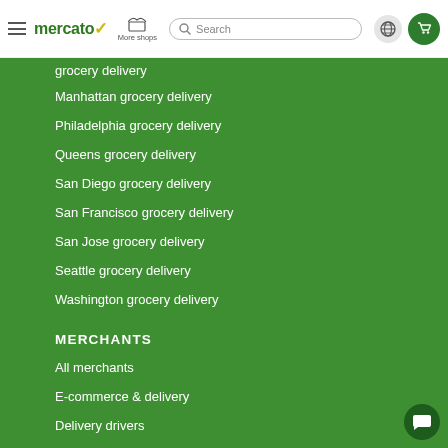mercato | More shops | Search | Globe | Cart
Manhattan grocery delivery
Philadelphia grocery delivery
Queens grocery delivery
San Diego grocery delivery
San Francisco grocery delivery
San Jose grocery delivery
Seattle grocery delivery
Washington grocery delivery
MERCHANTS
All merchants
E-commerce & delivery
Delivery drivers
Grocery delivery services
Merchant sign-in
About us